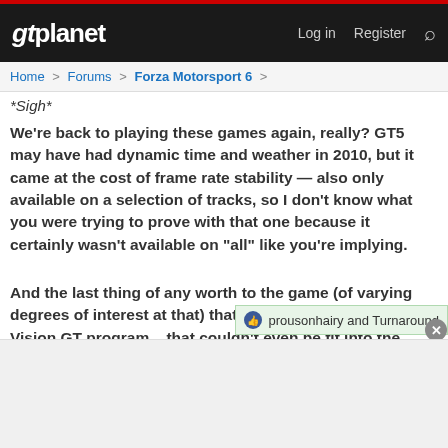gtplanet  Log in  Register
Home > Forums > Forza Motorsport 6 >
*Sigh*
We're back to playing these games again, really? GT5 may have had dynamic time and weather in 2010, but it came at the cost of frame rate stability — also only available on a selection of tracks, so I don't know what you were trying to prove with that one because it certainly wasn't available on "all" like you're implying.
And the last thing of any worth to the game (of varying degrees of interest at that) that PD pioneered was the Vision GT program... that couldn't even be fit into the game it was envisioned for.
prousonhairy and Turnaround